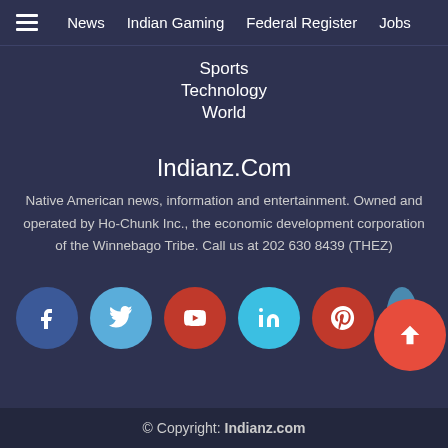News  Indian Gaming  Federal Register  Jobs
Sports
Technology
World
Indianz.Com
Native American news, information and entertainment. Owned and operated by Ho-Chunk Inc., the economic development corporation of the Winnebago Tribe. Call us at 202 630 8439 (THEZ)
[Figure (other): Social media icon buttons: Facebook, Twitter, YouTube, LinkedIn, Pinterest, and a scroll-to-top arrow button]
© Copyright: Indianz.com